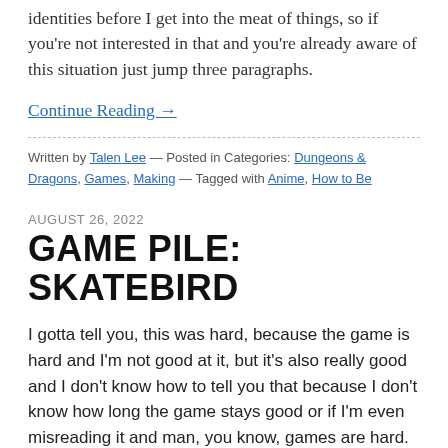identities before I get into the meat of things, so if you're not interested in that and you're already aware of this situation just jump three paragraphs.
Continue Reading →
Written by Talen Lee — Posted in Categories: Dungeons & Dragons, Games, Making — Tagged with Anime, How to Be
AUGUST 26, 2022
GAME PILE: SKATEBIRD
I gotta tell you, this was hard, because the game is hard and I'm not good at it, but it's also really good and I don't know how to tell you that because I don't know how long the game stays good or if I'm even misreading it and man, you know, games are hard.